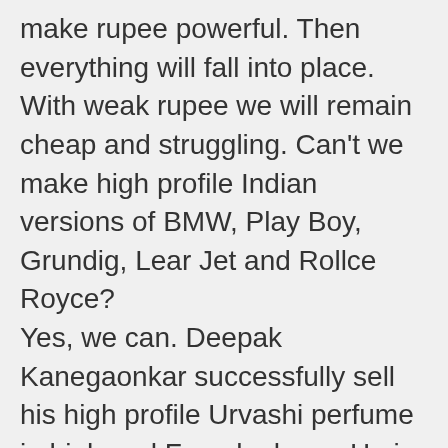make rupee powerful. Then everything will fall into place. With weak rupee we will remain cheap and struggling. Can't we make high profile Indian versions of BMW, Play Boy, Grundig, Lear Jet and Rollce Royce? Yes, we can. Deepak Kanegaonkar successfully sell his high profile Urvashi perfume in high end French shops. He is an unacknowledged ambassador to 'Made in India? Label. Faud Lokhandwala's seventeen fancy toilets in Delhi give western cities a run for their money. We should write many such success stories in India. India certainly come very far. Indian media often place India's plus points